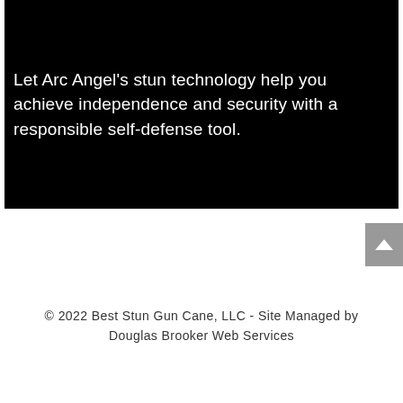Let Arc Angel's stun technology help you achieve independence and security with a responsible self-defense tool.
© 2022 Best Stun Gun Cane, LLC - Site Managed by Douglas Brooker Web Services